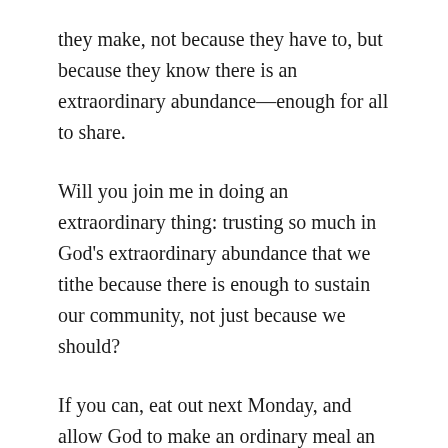they make, not because they have to, but because they know there is an extraordinary abundance—enough for all to share.
Will you join me in doing an extraordinary thing: trusting so much in God's extraordinary abundance that we tithe because there is enough to sustain our community, not just because we should?
If you can, eat out next Monday, and allow God to make an ordinary meal an occasion of extraordinary abundance, just as Jesus did on that beach in Galilee.
Grateful to share in God's abundance with you,